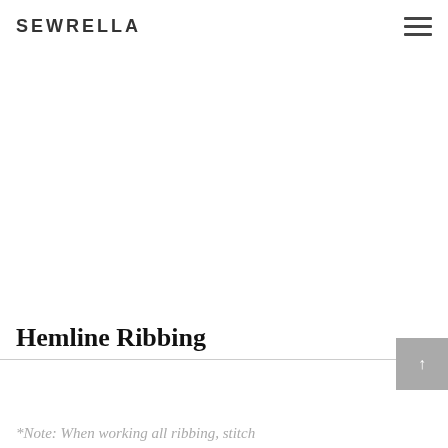SEWRELLA
Hemline Ribbing
*Note: When working all ribbing, stitch